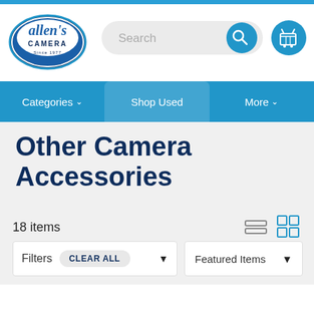[Figure (logo): Allen's Camera logo - blue script text on circular badge]
[Figure (screenshot): Search bar with magnifying glass icon on gray pill-shaped background]
[Figure (screenshot): Shopping cart icon button in blue circle]
Categories ∨   Shop Used   More ∨
Other Camera Accessories
18 items
Filters   CLEAR ALL ▼        Featured Items ▼